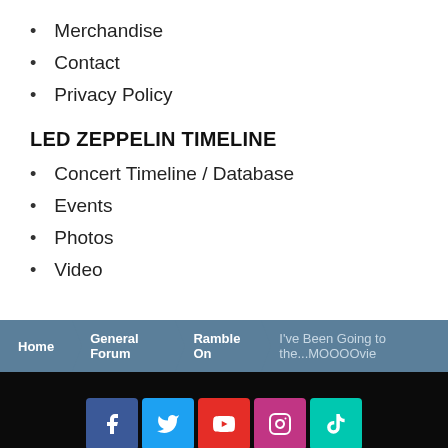Merchandise
Contact
Privacy Policy
LED ZEPPELIN TIMELINE
Concert Timeline / Database
Events
Photos
Video
Home | General Forum | Ramble On | I've Been Going to the...MOOOOvie
[Figure (infographic): Social media icons for Facebook, Twitter, YouTube, Instagram, TikTok with footer links: Privacy Policy, Contact Us, Cookies Policy]